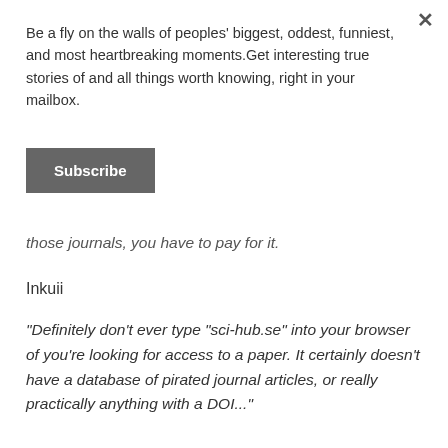Be a fly on the walls of peoples' biggest, oddest, funniest, and most heartbreaking moments.Get interesting true stories of and all things worth knowing, right in your mailbox.
Subscribe
those journals, you have to pay for it.
Inkuii
"Definitely don't ever type "sci-hub.se" into your browser of you're looking for access to a paper. It certainly doesn't have a database of pirated journal articles, or really practically anything with a DOI..."